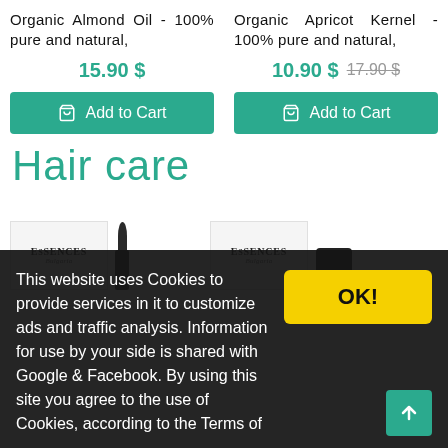Organic Almond Oil - 100% pure and natural,
15.90 $
Add to Cart
Organic Apricot Kernel - 100% pure and natural,
10.90 $  17.90 $
Add to Cart
Hair care
[Figure (photo): Two Essences Bulgaria product bottles with droppers — one dark/black bottle and product packaging shown]
This website uses Cookies to provide services in it to customize ads and traffic analysis. Information for use by your side is shared with Google & Facebook. By using this site you agree to the use of Cookies, according to the Terms of
OK!